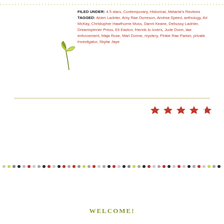[Figure (other): Dotted decorative border line at top of page]
FILED UNDER: 4.5 stars, Contemporary, Historical, Melanie's Reviews TAGGED: Aiden Ladnier, Amy Rae Durreson, Andrea Speed, anthology, Ari McKay, Christopher Hawthorne Moss, Danni Keane, Debussy Ladnier, Dreamspinner Press, Eli Easton, friends to lovers, Jude Dunn, law enforcement, Maja Rose, Mari Donne, mystery, Pinkie Rae Parker, private investigator, Skylar Jaye
[Figure (illustration): Small decorative leaf/plant icon]
[Figure (other): 4.5 red stars rating]
[Figure (other): Colorful decorative dots row separator]
WELCOME!